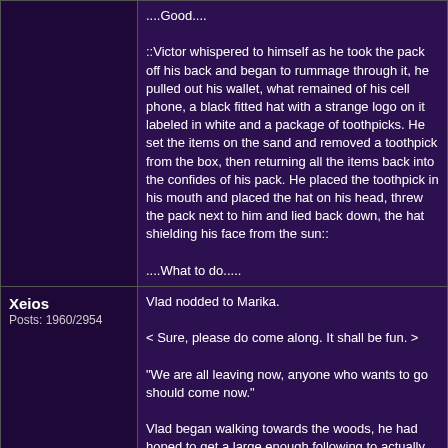....Good....

::Victor whispered to himself as he took the pack off his back and began to rummage through it, he pulled out his wallet, what remained of his cell phone, a black fitted hat with a strange logo on it labeled in white and a package of toothpicks. He set the items on the sand and removed a toothpick from the box, then returning all the items back into the confides of his pack. He placed the toothpick in his mouth and placed the hat on his head, threw the pack next to him and lied back down, the hat shielding his face from the sun::

....What to do.....
Xeios
Posts: 1960/2954
Vlad nodded to Marika.

< Sure, please do come along. It shall be fun. >

"We are all leaving now, anyone who wants to go should come now."

Vlad began walking towards the woods, he had hoped to get a large enough following to actually get relatively deep into the forest. He began zig-zagging between large trees which were very prominent. His eyes scanned the lish green forest, more like a jungle. And he began noting where he was going, entering it into his photographic memory.
Katana
Brady sighed. Everyone wanted to go into the woods